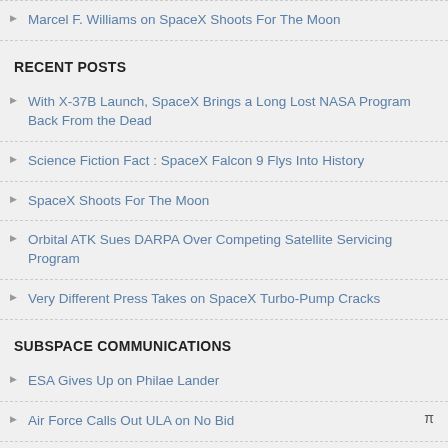Marcel F. Williams on SpaceX Shoots For The Moon
RECENT POSTS
With X-37B Launch, SpaceX Brings a Long Lost NASA Program Back From the Dead
Science Fiction Fact : SpaceX Falcon 9 Flys Into History
SpaceX Shoots For The Moon
Orbital ATK Sues DARPA Over Competing Satellite Servicing Program
Very Different Press Takes on SpaceX Turbo-Pump Cracks
SUBSPACE COMMUNICATIONS
ESA Gives Up on Philae Lander
Air Force Calls Out ULA on No Bid
May Named Director at MSFC
Orion Pressure Vessel Arrives at KSC
Hawking Suggests Black Hole Power